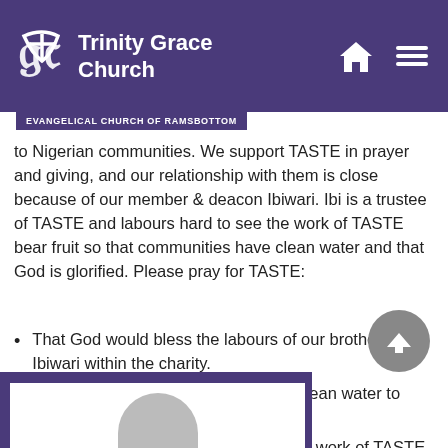Trinity Grace Church — Evangelical Church of Ramsbottom
to Nigerian communities. We support TASTE in prayer and giving, and our relationship with them is close because of our member & deacon Ibiwari. Ibi is a trustee of TASTE and labours hard to see the work of TASTE bear fruit so that communities have clean water and that God is glorified. Please pray for TASTE:
That God would bless the labours of our brother Ibiwari within the charity.
That God would continue to provide clean water to Nigerian communities through TASTE.
That God would be pleased to use the work of TASTE for the salvation of sinners throughout Nigeria.
[Figure (photo): Photo of a person at the bottom of the page, partially visible within a dark purple frame.]